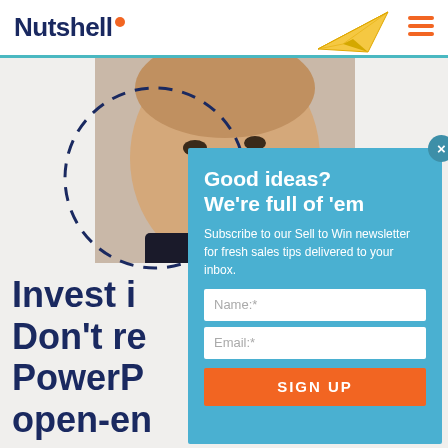Nutshell
[Figure (screenshot): Nutshell CRM website screenshot showing a man's face in the background, a dashed circle overlay, a paper plane icon in the header, and a blue modal popup with newsletter signup form.]
Good ideas? We're full of 'em
Subscribe to our Sell to Win newsletter for fresh sales tips delivered to your inbox.
Invest i... Don't re... PowerP... open-en...